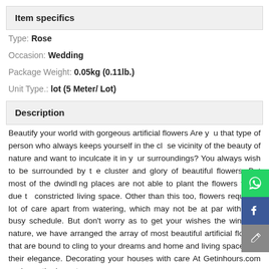Item specifics
Type: Rose
Occasion: Wedding
Package Weight: 0.05kg (0.11lb.)
Unit Type.: lot (5 Meter/ Lot)
Description
Beautify your world with gorgeous artificial flowers Are you that type of person who always keeps yourself in the close vicinity of the beauty of nature and want to inculcate it in your surroundings? You always wish to be surrounded by the cluster and glory of beautiful flowers. But most of the dwindling places are not able to plant the flowers today due to constricted living space. Other than this too, flowers require a lot of care apart from watering, which may not be at par with your busy schedule. But don't worry as to get your wishes the wings of nature, we have arranged the array of most beautiful artificial flowers that are bound to cling to your dreams and home and living space with their elegance. Decorating your houses with care At Getinhours.com we know the importance